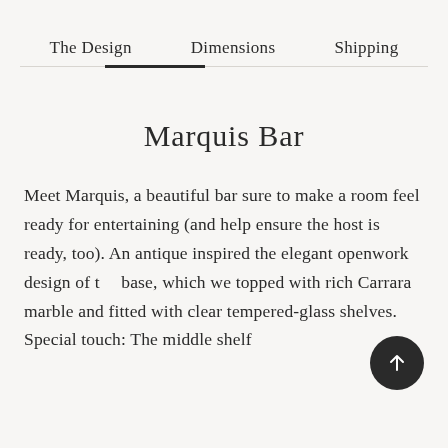The Design
Dimensions
Shipping
Marquis Bar
Meet Marquis, a beautiful bar sure to make a room feel ready for entertaining (and help ensure the host is ready, too). An antique inspired the elegant openwork design of the base, which we topped with rich Carrara marble and fitted with clear tempered-glass shelves. Special touch: The middle shelf